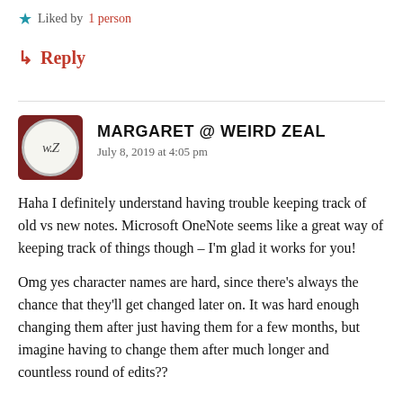Liked by 1 person
↳ Reply
MARGARET @ WEIRD ZEAL
July 8, 2019 at 4:05 pm
Haha I definitely understand having trouble keeping track of old vs new notes. Microsoft OneNote seems like a great way of keeping track of things though – I'm glad it works for you!
Omg yes character names are hard, since there's always the chance that they'll get changed later on. It was hard enough changing them after just having them for a few months, but imagine having to change them after much longer and countless round of edits??